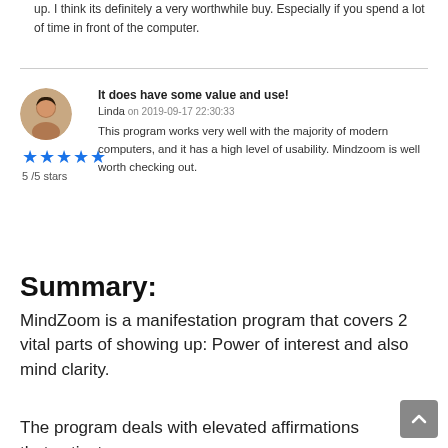up. I think its definitely a very worthwhile buy. Especially if you spend a lot of time in front of the computer.
It does have some value and use!
Linda on 2019-09-17 22:30:33
This program works very well with the majority of modern computers, and it has a high level of usability. Mindzoom is well worth checking out.
Summary:
MindZoom is a manifestation program that covers 2 vital parts of showing up: Power of interest and also mind clarity.
The program deals with elevated affirmations that activate